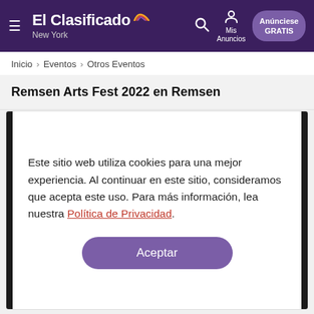ElClasificado New York — Mis Anuncios — Anúnciese GRATIS
Inicio › Eventos › Otros Eventos
Remsen Arts Fest 2022 en Remsen
Este sitio web utiliza cookies para una mejor experiencia. Al continuar en este sitio, consideramos que acepta este uso. Para más información, lea nuestra Política de Privacidad.
Aceptar